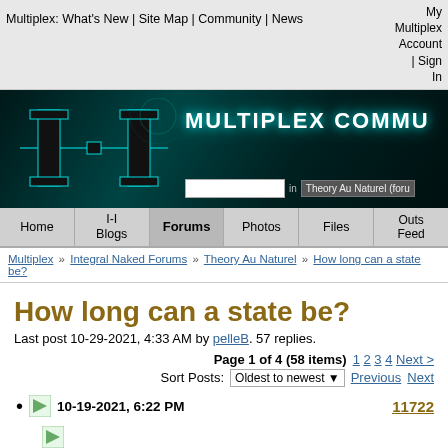Multiplex: What's New | Site Map | Community | News | My Multiplex Account | Sign In
[Figure (screenshot): Multiplex Community forum banner with teal/dark background, stylized I-I logo, MULTIPLEX COMMU title, and search box showing 'Theory Au Naturel (forum']
Home | I-I Blogs | Forums | Photos | Files | Outside Feed
Multiplex » Integral Naked Forums » Theory Au Naturel » How long can a state be?
How long can a state be?
Last post 10-29-2021, 4:33 AM by pelleB. 57 replies.
Page 1 of 4 (58 items)  1 2 3 4 Next >
Sort Posts: Oldest to newest  Previous Next
10-19-2021, 6:22 PM  11722